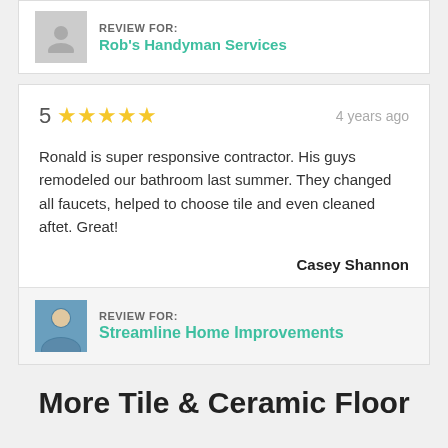REVIEW FOR: Rob's Handyman Services
5 stars · 4 years ago
Ronald is super responsive contractor. His guys remodeled our bathroom last summer. They changed all faucets, helped to choose tile and even cleaned aftet. Great!
Casey Shannon
REVIEW FOR: Streamline Home Improvements
More Tile & Ceramic Floor